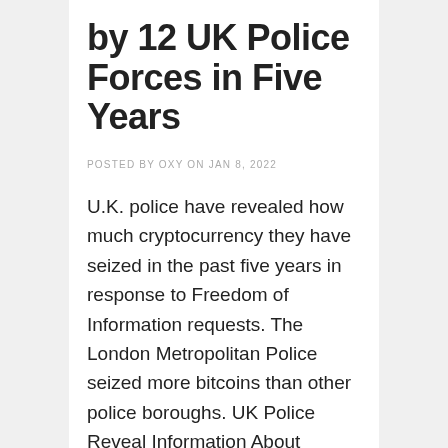by 12 UK Police Forces in Five Years
POSTED BY OXY ON JAN 8, 2022
U.K. police have revealed how much cryptocurrency they have seized in the past five years in response to Freedom of Information requests. The London Metropolitan Police seized more bitcoins than other police boroughs. UK Police Reveal Information About Seized Crypto Twelve of the U.K.'s 43 police forces have seized cryptocurrency worth